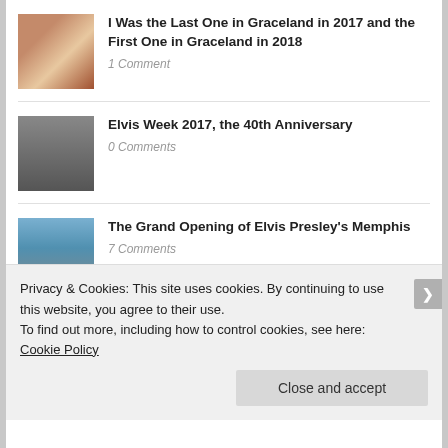I Was the Last One in Graceland in 2017 and the First One in Graceland in 2018
1 Comment
Elvis Week 2017, the 40th Anniversary
0 Comments
The Grand Opening of Elvis Presley's Memphis
7 Comments
Opening Weekend of the Guest House at Graceland
Privacy & Cookies: This site uses cookies. By continuing to use this website, you agree to their use.
To find out more, including how to control cookies, see here: Cookie Policy
Close and accept